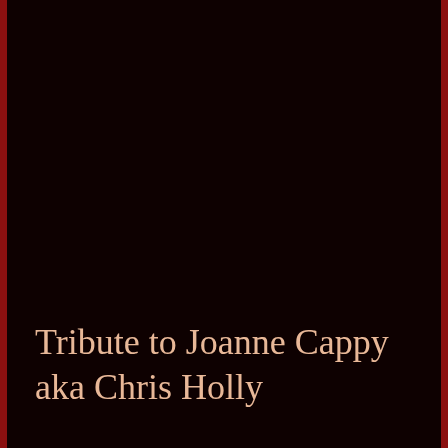Tribute to Joanne Cappy aka Chris Holly